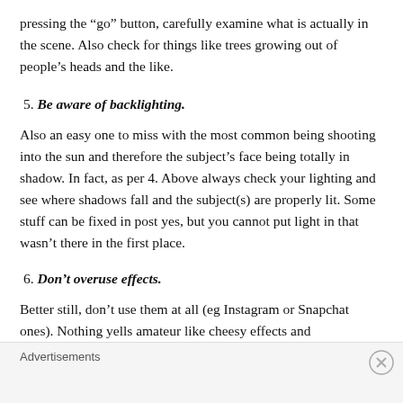pressing the “go” button, carefully examine what is actually in the scene. Also check for things like trees growing out of people’s heads and the like.
5. Be aware of backlighting.
Also an easy one to miss with the most common being shooting into the sun and therefore the subject’s face being totally in shadow. In fact, as per 4. Above always check your lighting and see where shadows fall and the subject(s) are properly lit. Some stuff can be fixed in post yes, but you cannot put light in that wasn’t there in the first place.
6. Don’t overuse effects.
Better still, don’t use them at all (eg Instagram or Snapchat ones). Nothing yells amateur like cheesy effects and
Advertisements